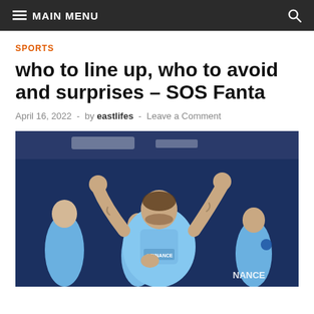MAIN MENU
SPORTS
who to line up, who to avoid and surprises – SOS Fanta
April 16, 2022 - by eastlifes - Leave a Comment
[Figure (photo): Lazio football player in light blue Binance jersey celebrating with both fists raised, teammates in background, stadium setting]